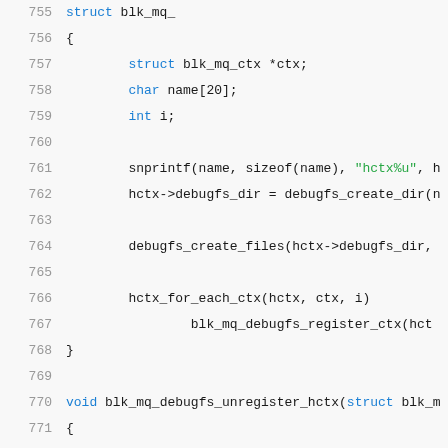Source code listing, lines 755-775, C code for blk_mq_debugfs functions